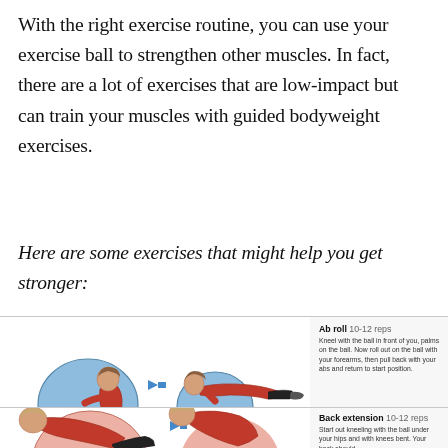With the right exercise routine, you can use your exercise ball to strengthen other muscles. In fact, there are a lot of exercises that are low-impact but can train your muscles with guided bodyweight exercises.
Here are some exercises that might help you get stronger:
[Figure (illustration): Two-panel illustration of Ab roll exercise: woman kneeling with exercise ball, then extended in plank position on ball forearms]
Ab roll 10-12 reps. Kneel with the ball in front of you, palms on the ball. Now roll out on the ball with your forearms, then pull back with your abs and return to start position.
[Figure (illustration): Partial illustration of Back extension exercise: woman kneeling with exercise ball under hips]
Back extension 10-12 reps. Start out kneeling with the ball under your hips and with knees bent. Your back should...